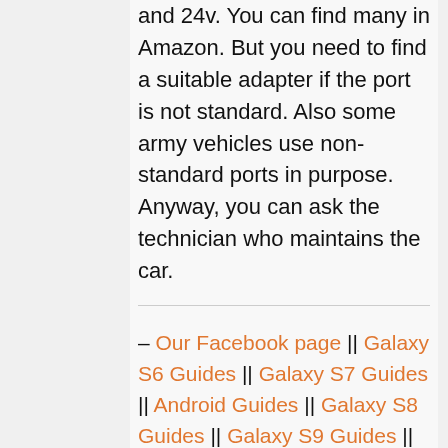and 24v. You can find many in Amazon. But you need to find a suitable adapter if the port is not standard. Also some army vehicles use non-standard ports in purpose. Anyway, you can ask the technician who maintains the car.
– Our Facebook page || Galaxy S6 Guides || Galaxy S7 Guides || Android Guides || Galaxy S8 Guides || Galaxy S9 Guides || Google Home Guides || Headphone Guides || Galaxy Note Guides || Fire tablet guide || Moto G